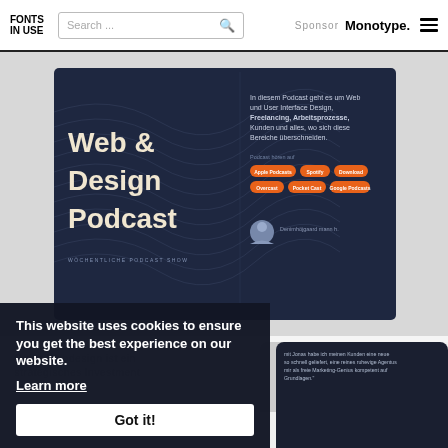FONTS IN USE | Search ... | Sponsor Monotype.
[Figure (screenshot): Web & Design Podcast website screenshot showing a dark navy podcast card with the title 'Web & Design Podcast', description text in German, orange badge buttons for Apple Podcasts, Spotify, Download, Overcast, Pocket Cast, Google Podcasts, and a host avatar photo.]
Source: www.jonasarleth.com License: All Rights Reserved.
This website uses cookies to ensure you get the best experience on our website.
Learn more
Got it!
Gutes Webdesign ist ein strategisches Investment